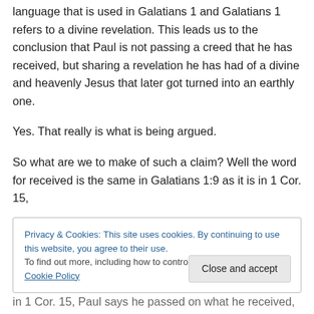language that is used in Galatians 1 and Galatians 1 refers to a divine revelation. This leads us to the conclusion that Paul is not passing a creed that he has received, but sharing a revelation he has had of a divine and heavenly Jesus that later got turned into an earthly one.
Yes. That really is what is being argued.
So what are we to make of such a claim? Well the word for received is the same in Galatians 1:9 as it is in 1 Cor. 15,
Privacy & Cookies: This site uses cookies. By continuing to use this website, you agree to their use. To find out more, including how to control cookies, see here: Cookie Policy
in 1 Cor. 15, Paul says he passed on what he received,